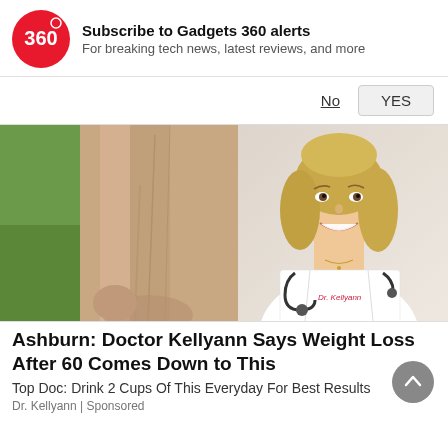Subscribe to Gadgets 360 alerts
For breaking tech news, latest reviews, and more
No   YES
[Figure (photo): Advertisement image showing two panels: left side shows a close-up of a person's leg/ankle with visible skin and veins against a green plant background; right side shows a smiling blonde woman in a white doctor's coat with a stethoscope, with text 'Dr. Kellyann' on her coat.]
Ashburn: Doctor Kellyann Says Weight Loss After 60 Comes Down to This
Top Doc: Drink 2 Cups Of This Everyday For Best Results
Dr. Kellyann | Sponsored